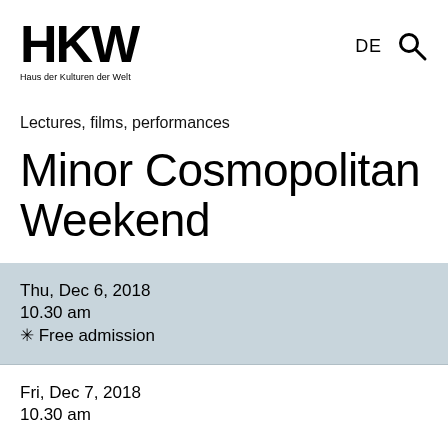[Figure (logo): HKW logo with text 'Haus der Kulturen der Welt']
DE
Lectures, films, performances
Minor Cosmopolitan Weekend
Thu, Dec 6, 2018
10.30 am
✳ Free admission
Fri, Dec 7, 2018
10.30 am